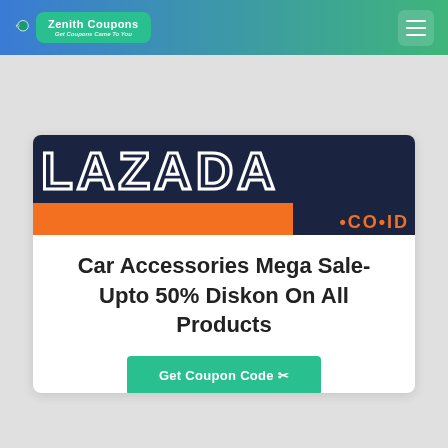Zenith Coupons – Get Coupons Came To You
[Figure (logo): Lazada .co.id logo banner – dark navy background with large outlined LAZADA text, orange bar and .CO.ID text in orange]
Car Accessories Mega Sale- Upto 50% Diskon On All Products
Get Coupon Code ✂
Show Details